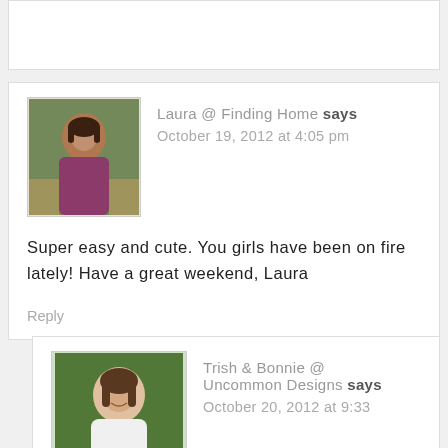[Figure (photo): Top portion of a previous comment box, mostly empty white space]
Laura @ Finding Home says
October 19, 2012 at 4:05 pm
Super easy and cute. You girls have been on fire lately! Have a great weekend, Laura
Reply
Trish & Bonnie @ Uncommon Designs says
October 20, 2012 at 9:33